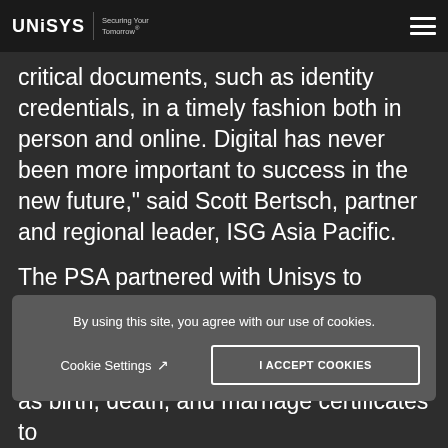UNISYS | Securing Your Tomorrow®
critical documents, such as identity credentials, in a timely fashion both in person and online. Digital has never been more important to success in the new future," said Scott Bertsch, partner and regional leader, ISG Asia Pacific.
The PSA partnered with Unisys to transform and modernize its CRS to increase accessibility and
By using this site, you agree with our use of cookies.
Cookie Settings ↗   I ACCEPT COOKIES
as birth, death, and marriage certificates to